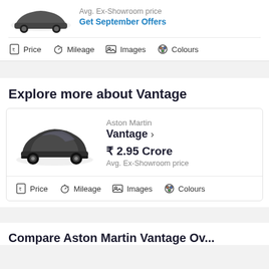Avg. Ex-Showroom price
Get September Offers
Price  Mileage  Images  Colours
Explore more about Vantage
Aston Martin
Vantage >
₹ 2.95 Crore
Avg. Ex-Showroom price
Price  Mileage  Images  Colours
Compare Aston Martin Vantage Ov...